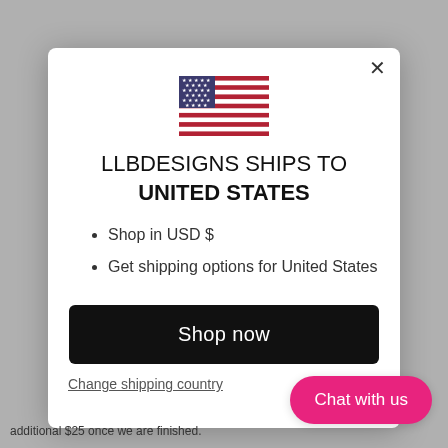[Figure (screenshot): Modal dialog popup showing LLBDesigns shipping to United States with US flag, bullet points, Shop now button, and Change shipping country link]
LLBDESIGNS SHIPS TO UNITED STATES
Shop in USD $
Get shipping options for United States
Shop now
Change shipping country
Chat with us